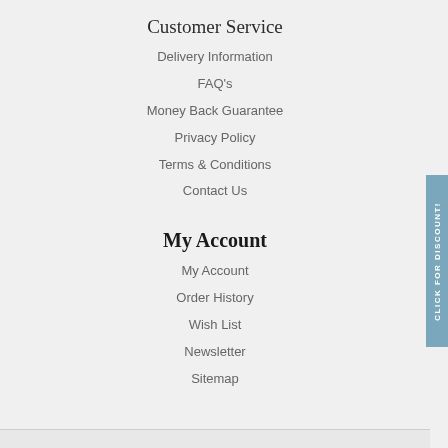Customer Service
Delivery Information
FAQ's
Money Back Guarantee
Privacy Policy
Terms & Conditions
Contact Us
My Account
My Account
Order History
Wish List
Newsletter
Sitemap